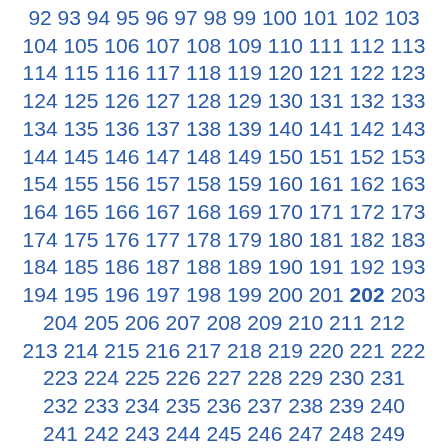92 93 94 95 96 97 98 99 100 101 102 103 104 105 106 107 108 109 110 111 112 113 114 115 116 117 118 119 120 121 122 123 124 125 126 127 128 129 130 131 132 133 134 135 136 137 138 139 140 141 142 143 144 145 146 147 148 149 150 151 152 153 154 155 156 157 158 159 160 161 162 163 164 165 166 167 168 169 170 171 172 173 174 175 176 177 178 179 180 181 182 183 184 185 186 187 188 189 190 191 192 193 194 195 196 197 198 199 200 201 202 203 204 205 206 207 208 209 210 211 212 213 214 215 216 217 218 219 220 221 222 223 224 225 226 227 228 229 230 231 232 233 234 235 236 237 238 239 240 241 242 243 244 245 246 247 248 249 250 251 252 253 254 255 256 257 258 259 260 261 262 263 264 265 266 267 268 269 270 271 272 273 274 275 276 277 278 279 280 281 282 283 284 285 286 287 288 289 290 291 292 293 294 295 296 297 298 299 300 301 302 303